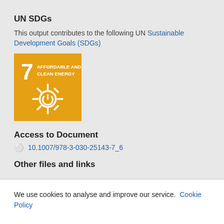UN SDGs
This output contributes to the following UN Sustainable Development Goals (SDGs)
[Figure (logo): UN SDG Goal 7 badge – orange/yellow square with number 7 and text AFFORDABLE AND CLEAN ENERGY with a sun/power icon]
Access to Document
10.1007/978-3-030-25143-7_6
Other files and links
We use cookies to analyse and improve our service. Cookie Policy